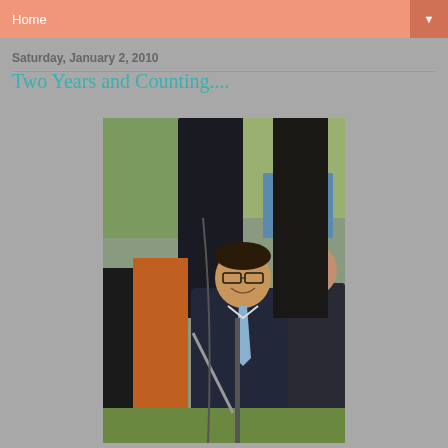Home
Saturday, January 2, 2010
Two Years and Counting....
[Figure (photo): A man in a dark suit and light blue tie smiling at an outdoor event, with speakers and event setup visible in the background, and other people partially visible on either side.]